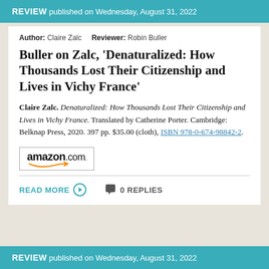REVIEW published on Wednesday, August 31, 2022
Author: Claire Zalc    Reviewer: Robin Buller
Buller on Zalc, 'Denaturalized: How Thousands Lost Their Citizenship and Lives in Vichy France'
Claire Zalc. Denaturalized: How Thousands Lost Their Citizenship and Lives in Vichy France. Translated by Catherine Porter. Cambridge: Belknap Press, 2020. 397 pp. $35.00 (cloth), ISBN 978-0-674-98842-2.
[Figure (logo): Amazon.com logo with orange arrow underneath]
READ MORE  0 REPLIES
REVIEW published on Wednesday, August 31, 2022